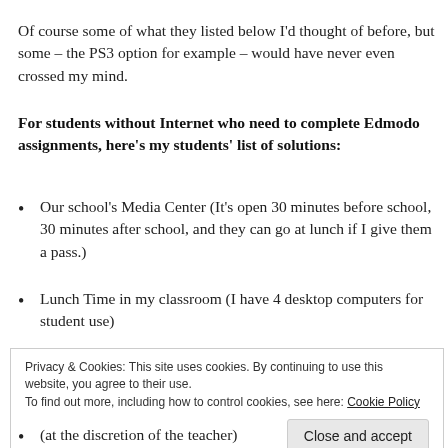Of course some of what they listed below I'd thought of before, but some – the PS3 option for example – would have never even crossed my mind.
For students without Internet who need to complete Edmodo assignments, here's my students' list of solutions:
Our school's Media Center (It's open 30 minutes before school, 30 minutes after school, and they can go at lunch if I give them a pass.)
Lunch Time in my classroom (I have 4 desktop computers for student use)
Privacy & Cookies: This site uses cookies. By continuing to use this website, you agree to their use.
To find out more, including how to control cookies, see here: Cookie Policy

Close and accept
(at the discretion of the teacher)